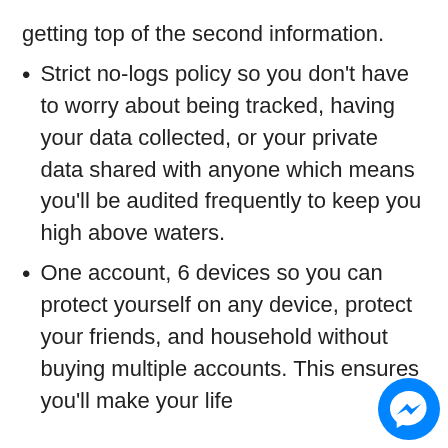getting top of the second information.
Strict no-logs policy so you don't have to worry about being tracked, having your data collected, or your private data shared with anyone which means you'll be audited frequently to keep you high above waters.
One account, 6 devices so you can protect yourself on any device, protect your friends, and household without buying multiple accou[nts]. This ensures you'll make your life